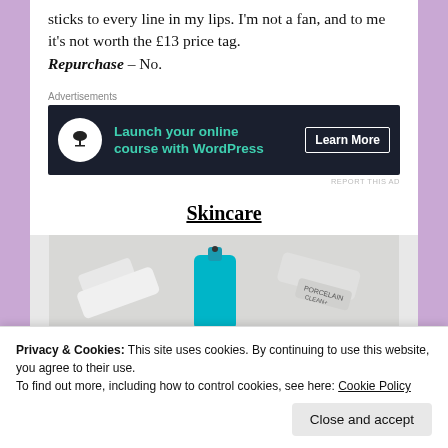sticks to every line in my lips. I'm not a fan, and to me it's not worth the £13 price tag.
Repurchase – No.
[Figure (screenshot): Advertisement banner for 'Launch your online course with WordPress' with a Learn More button on dark background]
Skincare
[Figure (photo): Skincare product tubes and bottles arranged on a light surface]
Privacy & Cookies: This site uses cookies. By continuing to use this website, you agree to their use. To find out more, including how to control cookies, see here: Cookie Policy
Close and accept